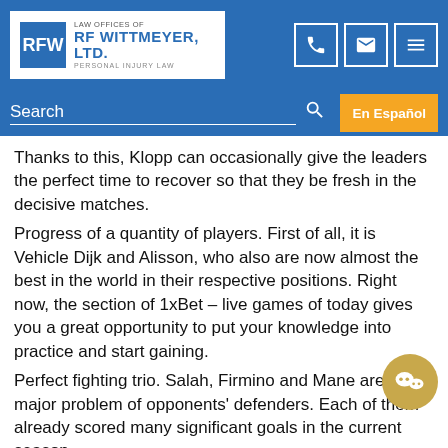LAW OFFICES OF RF WITTMEYER, LTD. PERSONAL INJURY LAW
Thanks to this, Klopp can occasionally give the leaders the perfect time to recover so that they be fresh in the decisive matches.
Progress of a quantity of players. First of all, it is Vehicle Dijk and Alisson, who also are now almost the best in the world in their respective positions. Right now, the section of 1xBet – live games of today gives you a great opportunity to put your knowledge into practice and start gaining.
Perfect fighting trio. Salah, Firmino and Mane are a true major problem of opponents' defenders. Each of them already scored many significant goals in the current season.
It is quite possible that in the spring Liverpool will be able to generate a historical achievement and complete at the